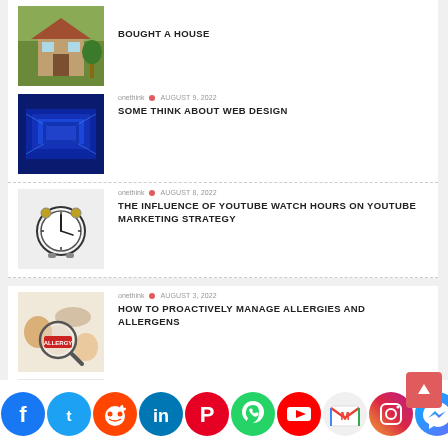[Figure (photo): House exterior thumbnail]
BOUGHT A HOUSE
[Figure (photo): Web design blue tech thumbnail]
onethink • AUGUST 9, 2022
SOME THINK ABOUT WEB DESIGN
[Figure (photo): Alarm clock thumbnail]
onethink • AUGUST 8, 2022
THE INFLUENCE OF YOUTUBE WATCH HOURS ON YOUTUBE MARKETING STRATEGY
[Figure (photo): Allergy food and magnifying glass thumbnail]
onethink • AUGUST 3, 2022
HOW TO PROACTIVELY MANAGE ALLERGIES AND ALLERGENS
[Figure (photo): Cufflinks on white fabric thumbnail]
onethink • AUGUST 2, 2022
WHAT IS THE PURPOSE OF CUFFLINKS!
Social share bar: Facebook, Twitter, Reddit, LinkedIn, Pinterest, WhatsApp, YouTube, Gmail, Instagram, Messenger, Yahoo